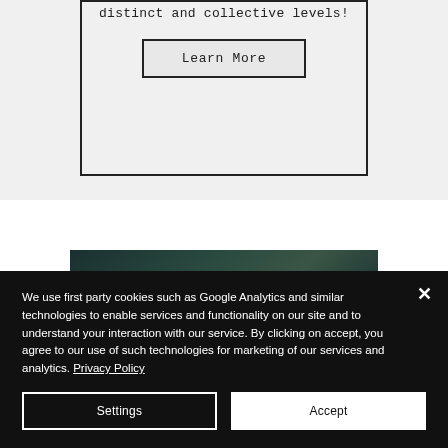distinct and collective levels!
Learn More
[Figure (photo): Dark green/teal toned photo, partially visible behind cookie consent overlay]
We use first party cookies such as Google Analytics and similar technologies to enable services and functionality on our site and to understand your interaction with our service. By clicking on accept, you agree to our use of such technologies for marketing of our services and analytics. Privacy Policy
Settings
Accept